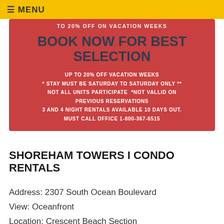≡ MENU
[Figure (infographic): Red promotional banner with text: 'TO 20% OFF ON VACATION WEEKS' at top, then 'BOOK NOW FOR BEST SELECTION' as main headline, followed by details: 'UP TO 20% OFF VACATION WEEKS * STAY MUST BE SATURDAY TO SATURDAY ONLY ** NOT ALL UNITS PARTICIPATE *NOT VALLID ON PREVIOUS RESERVATIONS 3 AND 4 NIGHT RENTALS AVAILABLE 10 DAYS OUT. MUST CALL OFFICE 1-800-367-6515']
SHOREHAM TOWERS I CONDO RENTALS
Address: 2307 South Ocean Boulevard
View: Oceanfront
Location: Crescent Beach Section